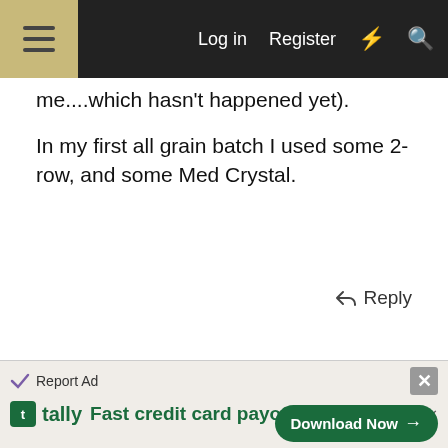Log in  Register
me....which hasn't happened yet).
In my first all grain batch I used some 2-row, and some Med Crystal.
Reply
Mar 10, 2005   #4
Tony
Well-Known Member
Same here, Im fairly new to brewing, with only 1 batch in bottles aging and one in a secondary mellowing. Both were from kits. My next is a grain/extract and I am looking into moving into all grain. I wont be going
Report Ad
tally Fast credit card payoff  Download Now